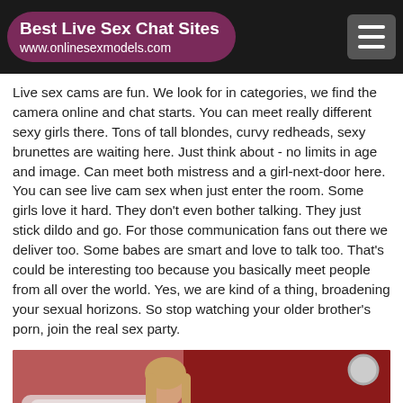Best Live Sex Chat Sites
www.onlinesexmodels.com
Live sex cams are fun. We look for in categories, we find the camera online and chat starts. You can meet really different sexy girls there. Tons of tall blondes, curvy redheads, sexy brunettes are waiting here. Just think about - no limits in age and image. Can meet both mistress and a girl-next-door here. You can see live cam sex when just enter the room. Some girls love it hard. They don't even bother talking. They just stick dildo and go. For those communication fans out there we deliver too. Some babes are smart and love to talk too. That's could be interesting too because you basically meet people from all over the world. Yes, we are kind of a thing, broadening your sexual horizons. So stop watching your older brother's porn, join the real sex party.
[Figure (photo): Young blonde woman sitting on a white tufted chair against a red wall background with round light fixtures]